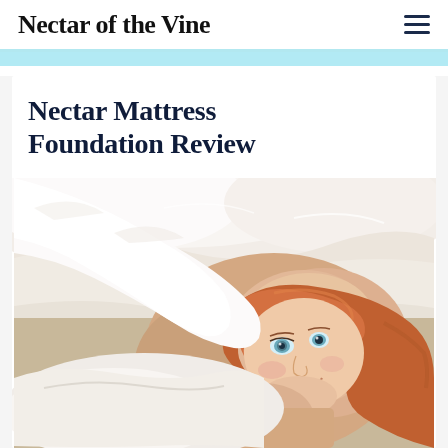Nectar of the Vine
Nectar Mattress Foundation Review
[Figure (photo): A young child with red hair lying in bed, partially covered by a white duvet/comforter, smiling at the camera. The background shows white pillows and soft bedding.]